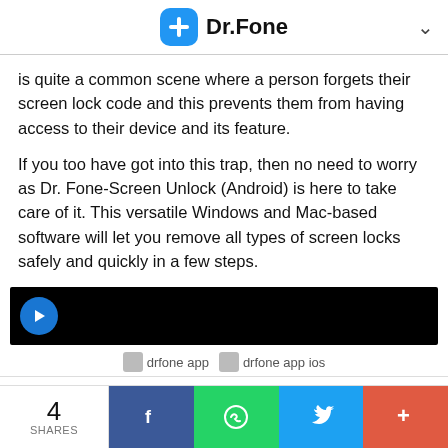Dr.Fone
is quite a common scene where a person forgets their screen lock code and this prevents them from having access to their device and its feature.
If you too have got into this trap, then no need to worry as Dr. Fone-Screen Unlock (Android) is here to take care of it. This versatile Windows and Mac-based software will let you remove all types of screen locks safely and quickly in a few steps.
[Figure (screenshot): Dark video thumbnail with blue circular play button]
drfone app   drfone app ios
4 SHARES | Facebook | WhatsApp | Twitter | More